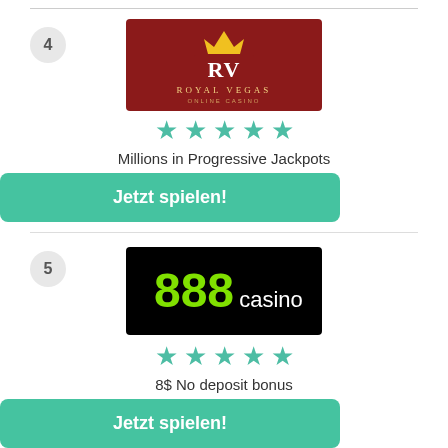[Figure (logo): Royal Vegas Online Casino logo — dark red background with gold crown and RV letters]
[Figure (other): 5 teal/green star rating icons]
Millions in Progressive Jackpots
Jetzt spielen!
[Figure (logo): 888 casino logo — black background with bright green 888 and white casino text]
[Figure (other): 5 teal/green star rating icons]
8$ No deposit bonus
Jetzt spielen!